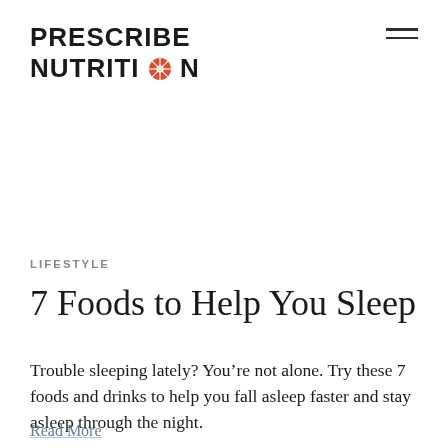PRESCRIBE NUTRITION
LIFESTYLE
7 Foods to Help You Sleep
Trouble sleeping lately? You’re not alone. Try these 7 foods and drinks to help you fall asleep faster and stay asleep through the night.
Read More